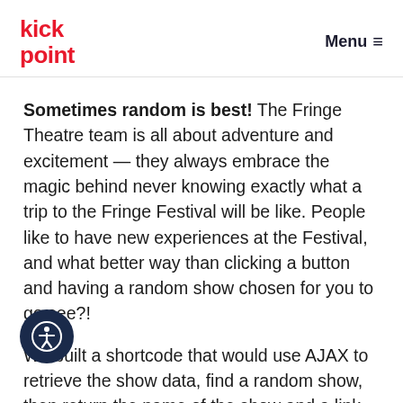kick point | Menu
Sometimes random is best! The Fringe Theatre team is all about adventure and excitement — they always embrace the magic behind never knowing exactly what a trip to the Fringe Festival will be like. People like to have new experiences at the Festival, and what better way than clicking a button and having a random show chosen for you to go see?!
We built a shortcode that would use AJAX to retrieve the show data, find a random show, then return the name of the show and a link to the ticket site to buy your own tickets. The code ensured there would be a future performance for the show that was randomly selected, as you would hate to recommend a future...